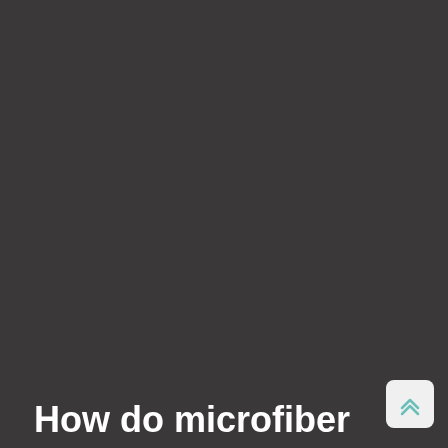[Figure (photo): Dark background image filling most of the page, appearing as a dark grey/charcoal photograph or background]
How do microfiber
[Figure (other): A small light grey rounded square button with a double chevron/arrow pointing upward in teal/cyan color, positioned in the bottom right corner]